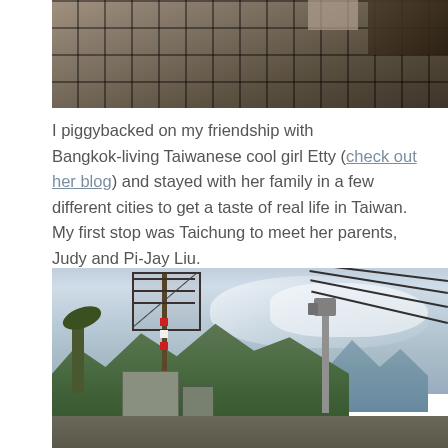[Figure (photo): Top-down view of tiled floor/pavement with grid pattern, some objects visible at edges]
I piggybacked on my friendship with Bangkok-living Taiwanese cool girl Etty (check out her blog) and stayed with her family in a few different cities to get a taste of real life in Taiwan. My first stop was Taichung to meet her parents, Judy and Pi-Jay Liu.
[Figure (photo): Outdoor scene in Taiwan showing a cell tower and radio mast tower against a cloudy sky, with lush green forested mountains in the background and power lines on the right side]